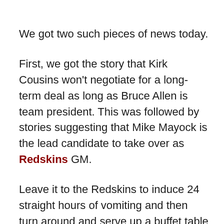We got two such pieces of news today.
First, we got the story that Kirk Cousins won't negotiate for a long-term deal as long as Bruce Allen is team president. This was followed by stories suggesting that Mike Mayock is the lead candidate to take over as Redskins GM.
Leave it to the Redskins to induce 24 straight hours of vomiting and then turn around and serve up a buffet table full of amazing treats the next day.
Before I comment on each of these stories, let me speak directly to my fellow fans on the matter of how in the hell we are supposed to bounce back from the last